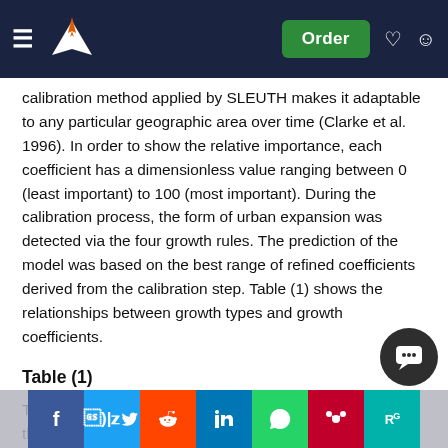Navigation bar with logo, Order button, notification and account icons
calibration method applied by SLEUTH makes it adaptable to any particular geographic area over time (Clarke et al. 1996). In order to show the relative importance, each coefficient has a dimensionless value ranging between 0 (least important) to 100 (most important). During the calibration process, the form of urban expansion was detected via the four growth rules. The prediction of the model was based on the best range of refined coefficients derived from the calibration step. Table (1) shows the relationships between growth types and growth coefficients.
Table (1)
The main assumption of the SLEUTH model is based on the inherent pattern of urban dynamics whereby the city will witness a particular growth based on its historical trend in the past (Clarke et al. 1997). During the